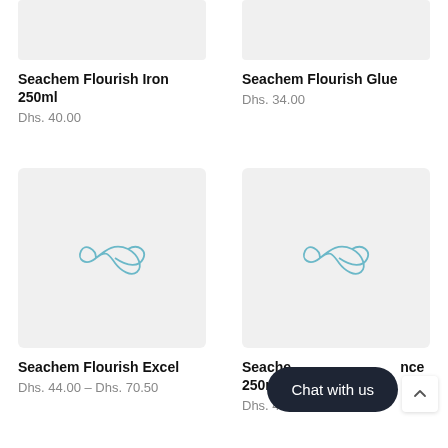[Figure (photo): Product image placeholder for Seachem Flourish Iron 250ml, grey background with loading spinner]
Seachem Flourish Iron 250ml
Dhs. 40.00
[Figure (photo): Product image placeholder for Seachem Flourish Glue, grey background with loading spinner]
Seachem Flourish Glue
Dhs. 34.00
[Figure (photo): Product image placeholder for Seachem Flourish Excel, grey background with infinity loading spinner]
Seachem Flourish Excel
Dhs. 44.00 – Dhs. 70.50
[Figure (photo): Product image placeholder for Seachem Flourish Advance 250ml, grey background with infinity loading spinner]
Seachem Flourish Advance 250ml
Dhs. 48.00